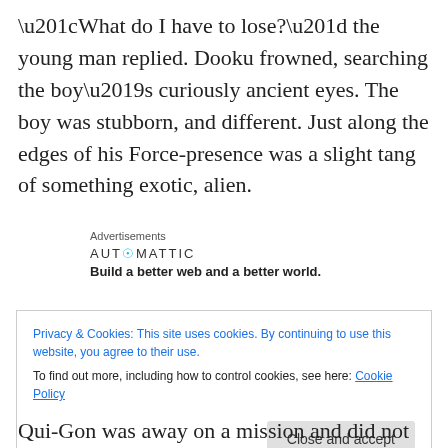“What do I have to lose?” the young man replied. Dooku frowned, searching the boy’s curiously ancient eyes. The boy was stubborn, and different. Just along the edges of his Force-presence was a slight tang of something exotic, alien.
Advertisements
[Figure (logo): Automattic logo with tagline: Build a better web and a better world.]
Privacy & Cookies: This site uses cookies. By continuing to use this website, you agree to their use.
To find out more, including how to control cookies, see here: Cookie Policy
Close and accept
Qui-Gon was away on a mission and did not meet with